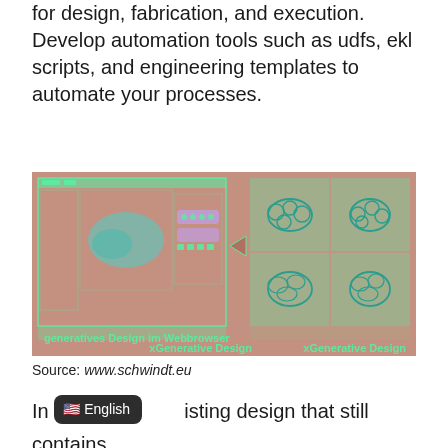for design, fabrication, and execution. Develop automation tools such as udfs, ekl scripts, and engineering templates to automate your processes.
[Figure (screenshot): Screenshot showing generative design web browser interface with xGenerative Design. Left panel shows a CAD design interface with a 3D part model and controls. Right panel shows four quadrants with generated design variants. Text overlay reads 'generatives Design im Webbrowser' and 'xGenerative Design'.]
Source: www.schwindt.eu
In existing design that still contains re nd and explore design